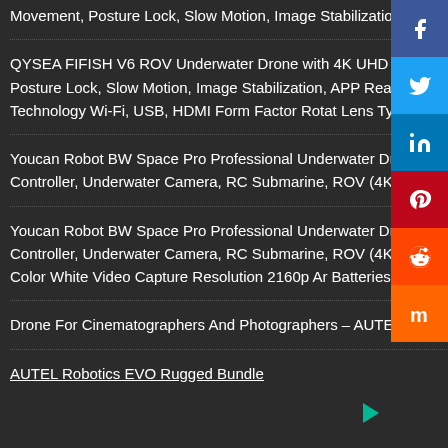Movement, Posture Lock, Slow Motion, Image Stabilization, APP Real-Time Viewing
QYSEA FIFISH V6 ROV Underwater Drone with 4K UHD Camera, VR Headset, Dive to 330ft, 166° FOV, 4000lm LED Support 360° Movement, Posture Lock, Slow Motion, Image Stabilization, APP Real-Time Viewing Brand Keenstone Video Capture Resolution 480p Connectivity Technology Wi-Fi, USB, HDMI Form Factor Rotat Lens Type Prime
Youcan Robot BW Space Pro Professional Underwater Drone with 6X Zoom 4K / 4K HD Camera and Stable Signal Transmission, Remote Controller, Underwater Camera, RC Submarine, ROV (4K Prime Lens)
Youcan Robot BW Space Pro Professional Underwater Drone with 6X Zoom 4K / 4K HD Camera and Stable Signal Transmission, Remote Controller, Underwater Camera, RC Submarine, ROV (4K Prime Lens) Style: 4K Prime Lens Brand Youcan Robot Model Nam BW Space Pro 4K Color White Video Capture Resolution 2160p Ar Batteries Included Yes Wireless Communication [...]
Drone For Cinematographers And Photographers – AUTEL Robotics EVO Rugged Bundle
AUTEL Robotics EVO Rugged Bundle